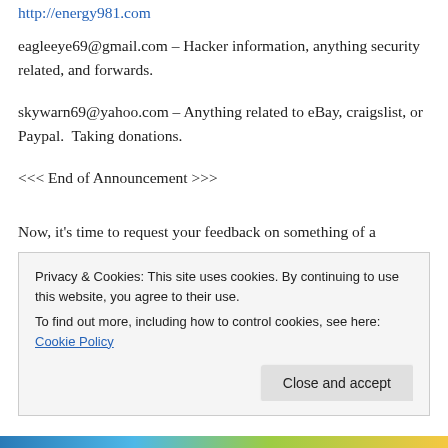http://energy981.com
eagleeye69@gmail.com – Hacker information, anything security related, and forwards.
skywarn69@yahoo.com – Anything related to eBay, craigslist, or Paypal.  Taking donations.
<<< End of Announcement >>>
Now, it's time to request your feedback on something of a
Privacy & Cookies: This site uses cookies. By continuing to use this website, you agree to their use.
To find out more, including how to control cookies, see here: Cookie Policy